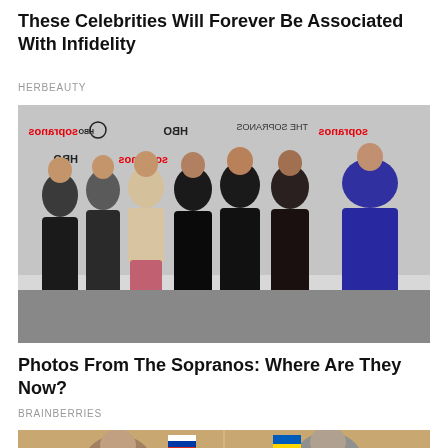These Celebrities Will Forever Be Associated With Infidelity
HERBEAUTY
[Figure (photo): Group photo of several women standing in front of an HBO Sopranos step-and-repeat banner backdrop]
Photos From The Sopranos: Where Are They Now?
BRAINBERRIES
[Figure (photo): Two people shown side by side, one with a Russian flag, one with a Ukrainian flag overlaid on their foreheads, desert background]